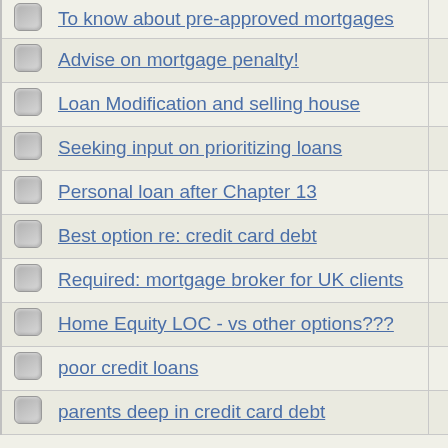To know about pre-approved mortgages
Advise on mortgage penalty!
Loan Modification and selling house
Seeking input on prioritizing loans
Personal loan after Chapter 13
Best option re: credit card debt
Required: mortgage broker for UK clients
Home Equity LOC - vs other options???
poor credit loans
parents deep in credit card debt